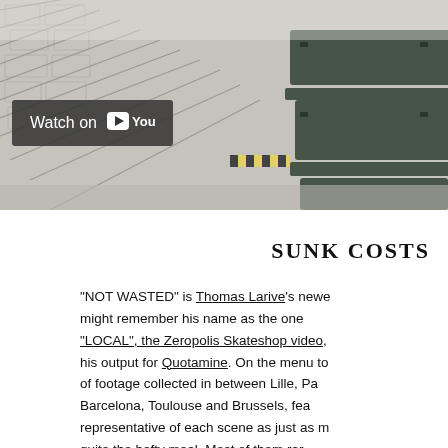[Figure (photo): Skateboarding spot with stone stairs and metal rails, YouTube video thumbnail with 'Watch on YouTube' badge overlay]
SUNK COSTS
"NOT WASTED" is Thomas Larive's newest... might remember his name as the one... "LOCAL", the Zeropolis Skateshop video,... his output for Quotamine. On the menu to... of footage collected in between Lille, Pa... Barcelona, Toulouse and Brussels, fea... representative of each scene as just as m... quite the hefty meal. Most of them rar... too, including a certain Ibu Sanyang and... with good taste when it comes to spot se...